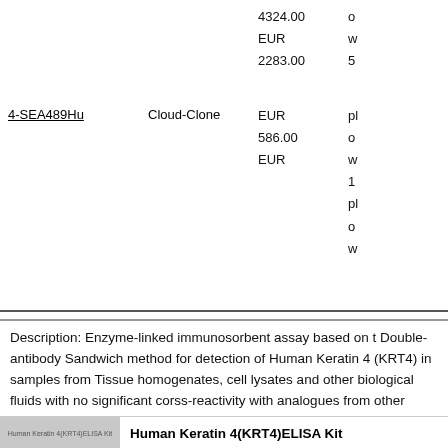| ID | Brand | Price | Description (partial) |
| --- | --- | --- | --- |
|  |  | 4324.00 EUR | o... w... 5... |
| 4-SEA489Hu | Cloud-Clone | 2283.00 EUR
586.00 EUR | pl... o... w... 1... pl... o... w... |
Description: Enzyme-linked immunosorbent assay based on the Double-antibody Sandwich method for detection of Human Keratin 4 (KRT4) in samples from Tissue homogenates, cell lysates and other biological fluids with no significant corss-reactivity with analogues from other species.
Human Keratin 4(KRT4)ELISA Kit